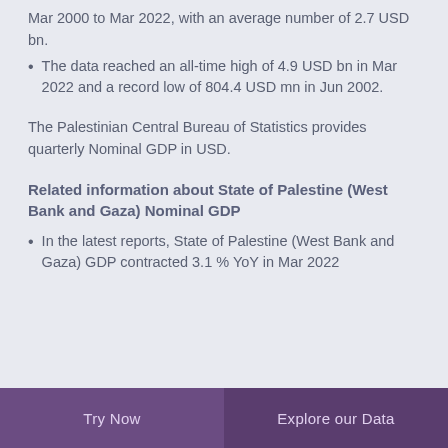Mar 2000 to Mar 2022, with an average number of 2.7 USD bn.
The data reached an all-time high of 4.9 USD bn in Mar 2022 and a record low of 804.4 USD mn in Jun 2002.
The Palestinian Central Bureau of Statistics provides quarterly Nominal GDP in USD.
Related information about State of Palestine (West Bank and Gaza) Nominal GDP
In the latest reports, State of Palestine (West Bank and Gaza) GDP contracted 3.1 % YoY in Mar 2022
Try Now | Explore our Data